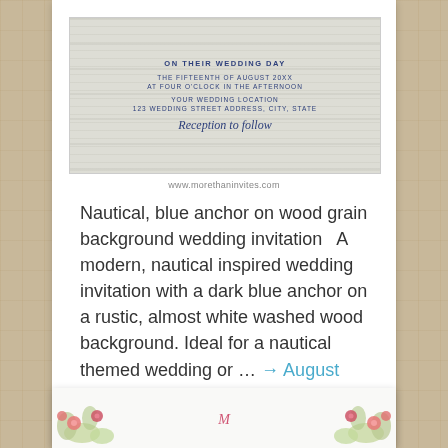[Figure (illustration): Wedding invitation with wood grain background showing 'ON THEIR WEDDING DAY', date and time details, venue address, and 'Reception to follow' in script text]
www.morethaninvites.com
Nautical, blue anchor on wood grain background wedding invitation   A modern, nautical inspired wedding invitation with a dark blue anchor on a rustic, almost white washed wood background. Ideal for a nautical themed wedding or ... → August 26, 2015
[Figure (illustration): Partial view of a floral wedding invitation at the bottom of the page]